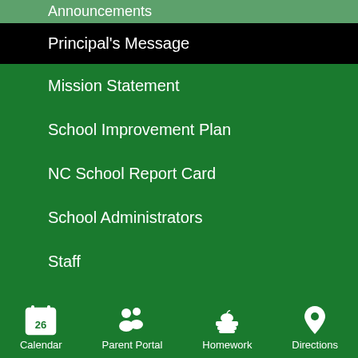Announcements
Principal's Message
Mission Statement
School Improvement Plan
NC School Report Card
School Administrators
Staff
Peachjar
Calendar  Parent Portal  Homework  Directions